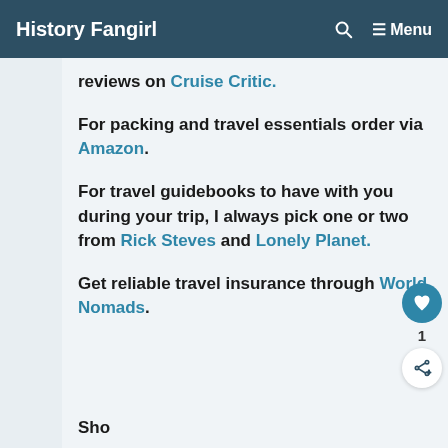History Fangirl
reviews on Cruise Critic.
For packing and travel essentials order via Amazon.
For travel guidebooks to have with you during your trip, I always pick one or two from Rick Steves and Lonely Planet.
Get reliable travel insurance through World Nomads.
Sho...